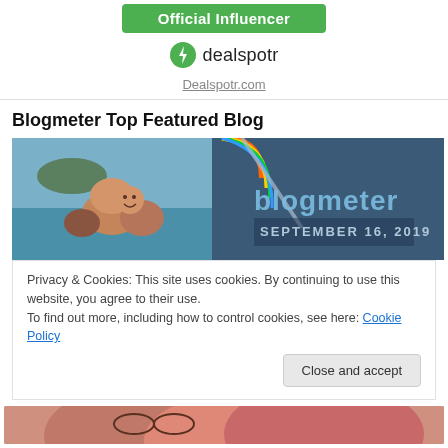[Figure (other): Green 'Official Influencer' badge button]
[Figure (logo): Dealspotr logo with green lightning bolt icon and 'dealspotr' text]
Dealspotr.com
Blogmeter Top Featured Blog
[Figure (photo): Two-panel blog image: left shows a selfie of people near water with an island, right shows 'blogmeter SEPTEMBER 16, 2019' text overlay on a blurred background with colorful circle logo]
Privacy & Cookies: This site uses cookies. By continuing to use this website, you agree to their use.
To find out more, including how to control cookies, see here: Cookie Policy
[Figure (photo): Bottom strip showing partial view of a person's face]